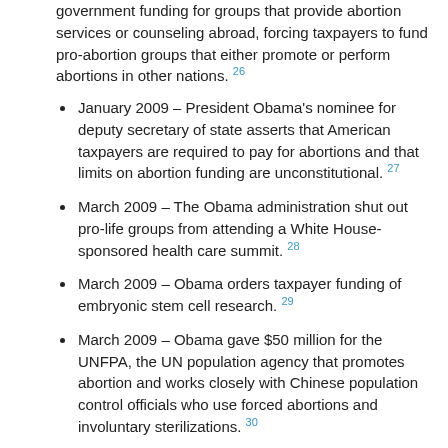government funding for groups that provide abortion services or counseling abroad, forcing taxpayers to fund pro-abortion groups that either promote or perform abortions in other nations. 26
January 2009 – President Obama's nominee for deputy secretary of state asserts that American taxpayers are required to pay for abortions and that limits on abortion funding are unconstitutional. 27
March 2009 – The Obama administration shut out pro-life groups from attending a White House-sponsored health care summit. 28
March 2009 – Obama orders taxpayer funding of embryonic stem cell research. 29
March 2009 – Obama gave $50 million for the UNFPA, the UN population agency that promotes abortion and works closely with Chinese population control officials who use forced abortions and involuntary sterilizations. 30